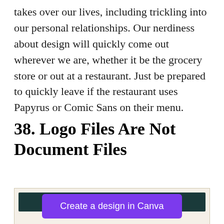takes over our lives, including trickling into our personal relationships. Our nerdiness about design will quickly come out wherever we are, whether it be the grocery store or out at a restaurant. Just be prepared to quickly leave if the restaurant uses Papyrus or Comic Sans on their menu.
38. Logo Files Are Not Document Files
[Figure (other): Screenshot or image preview with a dark teal/navy header bar visible at top, partially shown, with a 'Create a design in Canva' purple button overlay]